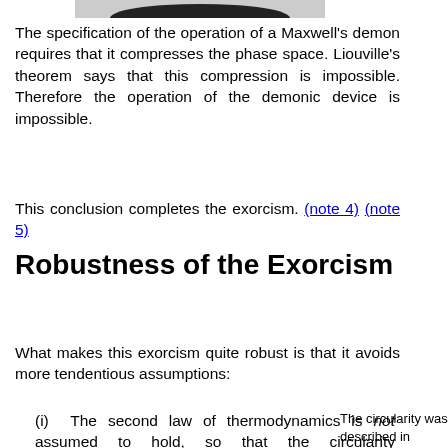[Figure (photo): Partial image at top of page, appears to be a cropped photo (bottom portion visible, dark shape on white background)]
The specification of the operation of a Maxwell's demon requires that it compresses the phase space. Liouville's theorem says that this compression is impossible. Therefore the operation of the demonic device is impossible.
This conclusion completes the exorcism. (note 4) (note 5)
Robustness of the Exorcism
What makes this exorcism quite robust is that it avoids more tendentious assumptions:
(i) The second law of thermodynamics is not assumed to hold, so that the circularity troubling the information
The circularity was described in Earman and Norton. Most